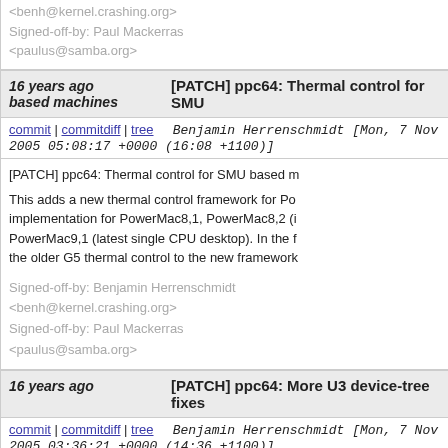<benh@kernel.crashing.org>
Signed-off-by: Paul Mackerras
<paulus@samba.org>
16 years ago based machines | [PATCH] ppc64: Thermal control for SMU based machines
commit | commitdiff | tree   Benjamin Herrenschmidt [Mon, 7 Nov 2005 05:08:17 +0000 (16:08 +1100)]
[PATCH] ppc64: Thermal control for SMU based m

This adds a new thermal control framework for Po implementation for PowerMac8,1, PowerMac8,2 (i PowerMac9,1 (latest single CPU desktop). In the f the older G5 thermal control to the new framework

Signed-off-by: Benjamin Herrenschmidt <benh@kernel.crashing.org>
Signed-off-by: Paul Mackerras <paulus@samba.org>
16 years ago | [PATCH] ppc64: More U3 device-tree fixes
commit | commitdiff | tree   Benjamin Herrenschmidt [Mon, 7 Nov 2005 03:36:21 +0000 (14:36 +1100)]
[PATCH] ppc64: More U3 device-tree fixes

Some more U3 revisions have the missing "interru this adds them to the fixup code in prom_init.c